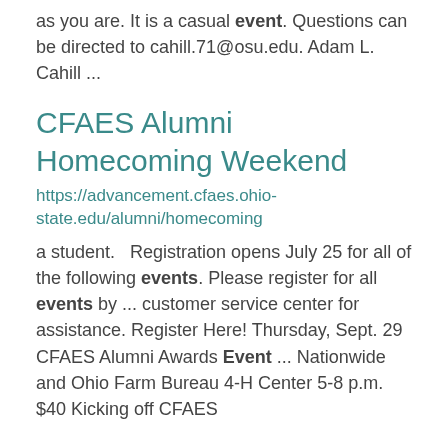as you are. It is a casual event. Questions can be directed to cahill.71@osu.edu. Adam L. Cahill ...
CFAES Alumni Homecoming Weekend
https://advancement.cfaes.ohio-state.edu/alumni/homecoming
a student.   Registration opens July 25 for all of the following events. Please register for all events by ... customer service center for assistance. Register Here! Thursday, Sept. 29 CFAES Alumni Awards Event ... Nationwide and Ohio Farm Bureau 4-H Center 5-8 p.m. $40 Kicking off CFAES